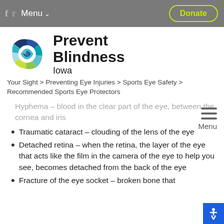f  ✦  Menu ∨    Donate
[Figure (logo): Prevent Blindness Iowa logo — circular eye graphic with blue, teal, green colors and text 'Prevent Blindness Iowa']
Your Sight > Preventing Eye Injuries > Sports Eye Safety > Recommended Sports Eye Protectors
Hyphema – blood in the clear part of the eye, between the cornea and iris
Traumatic cataract – clouding of the lens of the eye
Detached retina – when the retina, the layer of the eye that acts like the film in the camera of the eye to help you see, becomes detached from the back of the eye
Fracture of the eye socket – broken bone that